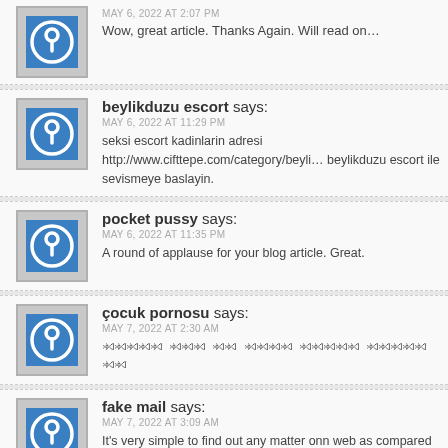Wow, great article. Thanks Again. Will read on…
beylikduzu escort says:
MAY 6, 2022 AT 11:29 PM
seksi escort kadinlarin adresi http://www.cifttepe.com/category/beylikduzu escort ile sevismeye baslayin.
pocket pussy says:
MAY 6, 2022 AT 11:35 PM
A round of applause for your blog article. Great.
çocuk pornosu says:
MAY 7, 2022 AT 2:30 AM
fake mail says:
MAY 7, 2022 AT 3:09 AM
It's very simple to find out any matter onn web as compared to textbooks, as I found this post at this website.

My site – fake mail